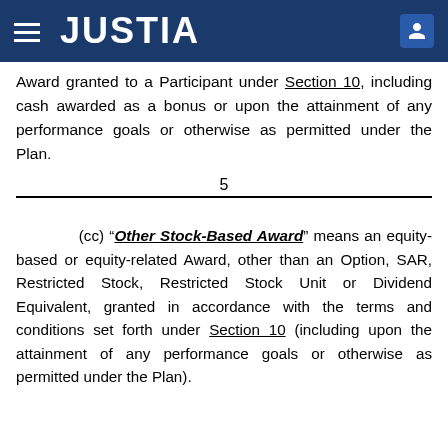JUSTIA
Award granted to a Participant under Section 10, including cash awarded as a bonus or upon the attainment of any performance goals or otherwise as permitted under the Plan.
5
(cc) “Other Stock-Based Award” means an equity-based or equity-related Award, other than an Option, SAR, Restricted Stock, Restricted Stock Unit or Dividend Equivalent, granted in accordance with the terms and conditions set forth under Section 10 (including upon the attainment of any performance goals or otherwise as permitted under the Plan).